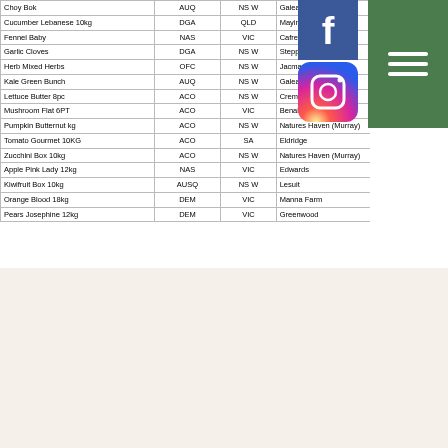| Item | Code | State | Supplier | Notes |
| --- | --- | --- | --- | --- |
| Choy Bok | AUQ | NSW | Galea | Low Fat, High Fibre |
| Cucumber Lebanese 10kg | DGA | QLD | Mayin | Fresh in - Limited |
| Fennel Baby | NAS | VIC | Cafresco Organics | VIC GROWN |
| Garlic Cloves | DGA | NSW | Stepping Stone | Big Cloves |
| Herb Mixed Herbs | OFC | NSW | Jacman Organics | Fresh bunches |
| Kale Green Bunch | AUQ | NSW | Galea | Fresh in |
| Lettuce Butter 8pc | ACO | NSW | Cremona | Limited |
| Mushroom Flat 6PT | ACO | VIC | Benalla Mushroom | 6 PT IN A TRAY ! |
| Pumpkin Butternut kg | ACO | NSW | Natures Haven (Murray) | Nice butternut ! |
| Tomato Gourmet 10KG | ACO | SA | Eldridge | Glasshouse Grown |
| Zucchini Box 10kg | ACO | NSW | Natures Haven (Murray) | Premium Size - Fresh in! |
| Apple Pink Lady 12kg | NAS | VIC | Edwards | Nice blush ! |
| Kiwifruit Box 10kg | AUSQ | NSW | Lesuit | All Australian |
| Orange Blood 18kg | DEM | VIC | Manna Farm | Antioxidant Boost |
| Pears Josephine 12kg | DEM | VIC | Greenwood | Great eating pear |
Aline McCarthy our incredible head divvyer is responsible for getting our boxes packed each week. She's been getting stuck into her organic produce on Thursday night with this yummy creations